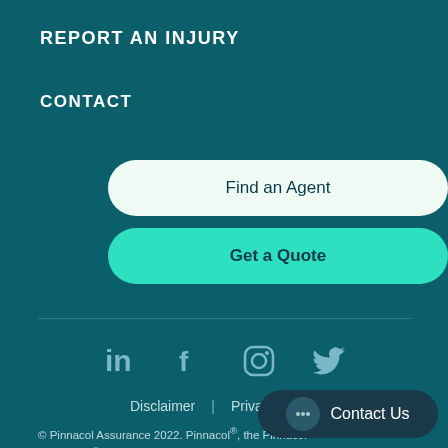REPORT AN INJURY
CONTACT
Find an Agent
Get a Quote
[Figure (other): Social media icons: LinkedIn, Facebook, Instagram, Twitter]
Disclaimer | Privacy Policy
© Pinnacol Assurance 2022. Pinnacol®, the Pinnacol Assurance® logo, and other trademarks used in this website are the trademarks o
Contact Us